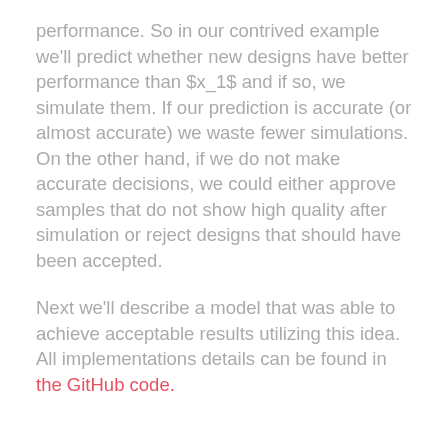performance. So in our contrived example we'll predict whether new designs have better performance than $x_1$ and if so, we simulate them. If our prediction is accurate (or almost accurate) we waste fewer simulations. On the other hand, if we do not make accurate decisions, we could either approve samples that do not show high quality after simulation or reject designs that should have been accepted.
Next we'll describe a model that was able to achieve acceptable results utilizing this idea. All implementations details can be found in the GitHub code.